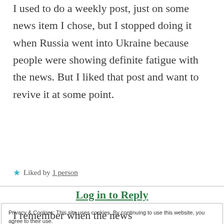I used to do a weekly post, just on some news item I chose, but I stopped doing it when Russia went into Ukraine because people were showing definite fatigue with the news. But I liked that post and want to revive it at some point.
★ Liked by 1 person
Log in to Reply
Privacy & Cookies: This site uses cookies. By continuing to use this website, you agree to their use.
To find out more, including how to control cookies, see here: Cookie Policy
Close and accept
I remember when the news